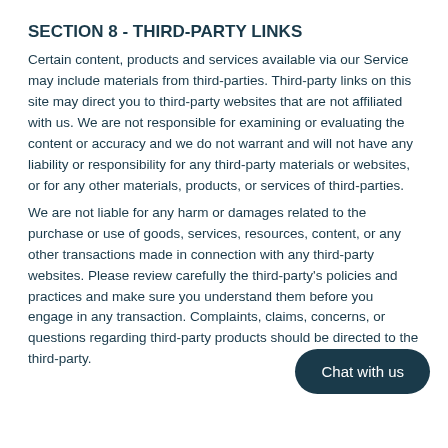SECTION 8 - THIRD-PARTY LINKS
Certain content, products and services available via our Service may include materials from third-parties. Third-party links on this site may direct you to third-party websites that are not affiliated with us. We are not responsible for examining or evaluating the content or accuracy and we do not warrant and will not have any liability or responsibility for any third-party materials or websites, or for any other materials, products, or services of third-parties.
We are not liable for any harm or damages related to the purchase or use of goods, services, resources, content, or any other transactions made in connection with any third-party websites. Please review carefully the third-party's policies and practices and make sure you understand them before you engage in any transaction. Complaints, claims, concerns, or questions regarding third-party products should be directed to the third-party.